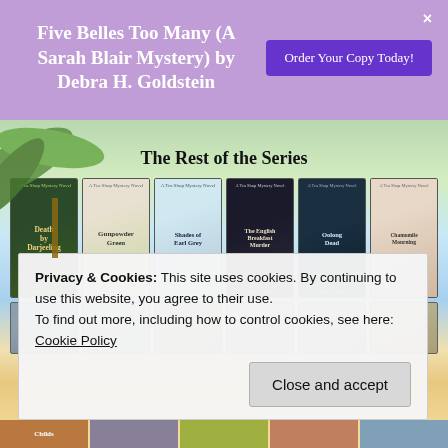Five Belles Too Many (A Sarah Blair Mystery) by Debra H. Goldstein
Order Your Copy Today!
The Rest of the Series
[Figure (illustration): Six book covers from the Tea Shop Mystery series by Laura Childs: Death By Darjeeling, Gunpowder Green, Shades of Earl Grey, The English Breakfast Murder, Oolong Dead, Chamomile Mourning]
[Figure (illustration): A second row of smaller book cover thumbnails partially visible]
Privacy & Cookies: This site uses cookies. By continuing to use this website, you agree to their use.
To find out more, including how to control cookies, see here:
Cookie Policy
Close and accept
[Figure (illustration): Bottom strip of colorful book cover thumbnails including a 'Childs' author cover]